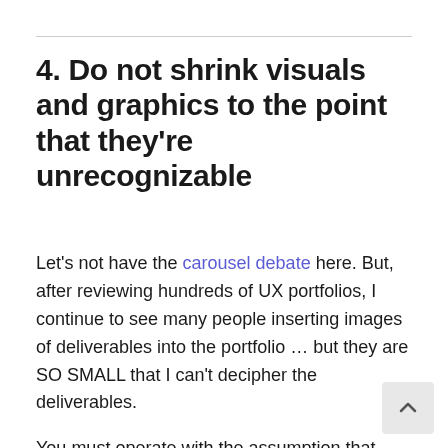4. Do not shrink visuals and graphics to the point that they're unrecognizable
Let's not have the carousel debate here. But, after reviewing hundreds of UX portfolios, I continue to see many people inserting images of deliverables into the portfolio … but they are SO SMALL that I can't decipher the deliverables.
You must operate with the assumption that people will NOT click the thumbnail to view it a larger version.